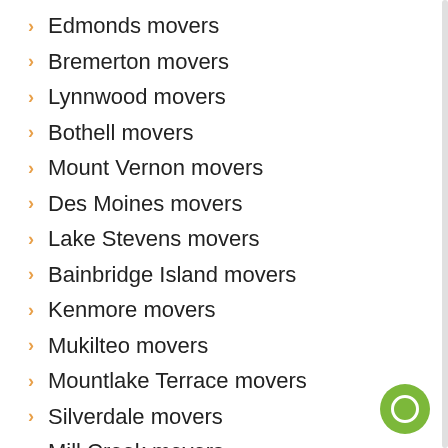Edmonds movers
Bremerton movers
Lynnwood movers
Bothell movers
Mount Vernon movers
Des Moines movers
Lake Stevens movers
Bainbridge Island movers
Kenmore movers
Mukilteo movers
Mountlake Terrace movers
Silverdale movers
Mill Creek movers
Arlington movers
Covington movers